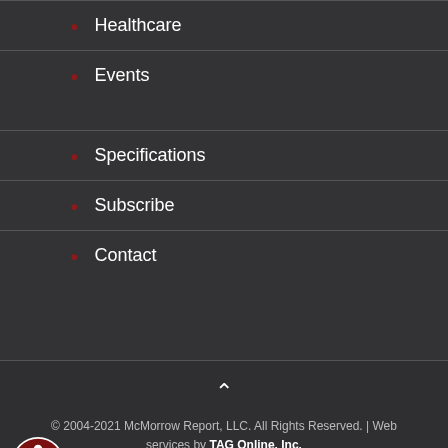Healthcare
Events
Specifications
Subscribe
Contact
© 2004-2021 McMorrow Report, LLC. All Rights Reserved. | Web services by TAG Online, Inc.